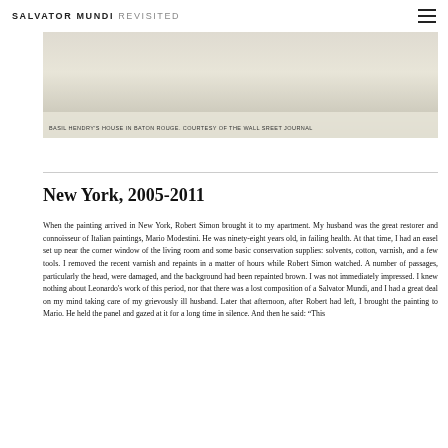SALVATOR MUNDI REVISITED
[Figure (photo): Partial view of Basil Hendry's house in Baton Rouge, a light-toned architectural image with muted beige and grey tones.]
BASIL HENDRY'S HOUSE IN BATON ROUGE. COURTESY OF THE WALL SREET JOURNAL
New York, 2005-2011
When the painting arrived in New York, Robert Simon brought it to my apartment. My husband was the great restorer and connoisseur of Italian paintings, Mario Modestini. He was ninety-eight years old, in failing health. At that time, I had an easel set up near the corner window of the living room and some basic conservation supplies: solvents, cotton, varnish, and a few tools. I removed the recent varnish and repaints in a matter of hours while Robert Simon watched. A number of passages, particularly the head, were damaged, and the background had been repainted brown. I was not immediately impressed. I knew nothing about Leonardo's work of this period, nor that there was a lost composition of a Salvator Mundi, and I had a great deal on my mind taking care of my grievously ill husband. Later that afternoon, after Robert had left, I brought the painting to Mario. He held the panel and gazed at it for a long time in silence. And then he said: "This